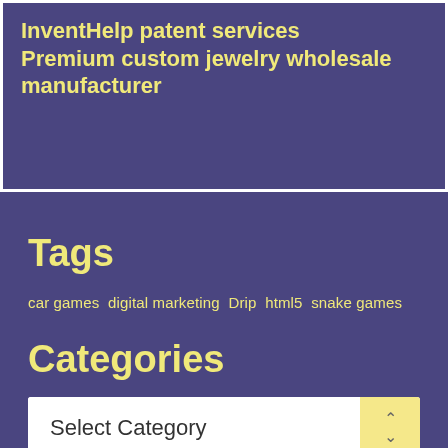InventHelp patent services
Premium custom jewelry wholesale manufacturer
Tags
car games  digital marketing  Drip  html5  snake games
Categories
Select Category